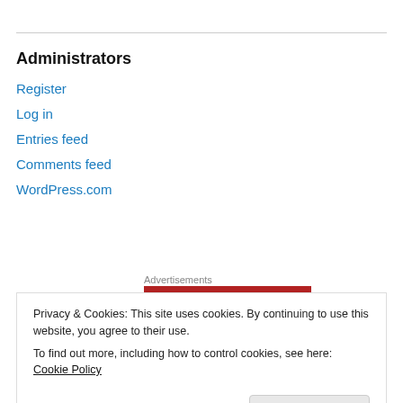Administrators
Register
Log in
Entries feed
Comments feed
WordPress.com
[Figure (logo): Longreads advertisement banner with red background, circular L logo, and LONGREADS text with decorative bracket lines]
Privacy & Cookies: This site uses cookies. By continuing to use this website, you agree to their use.
To find out more, including how to control cookies, see here: Cookie Policy
Close and accept